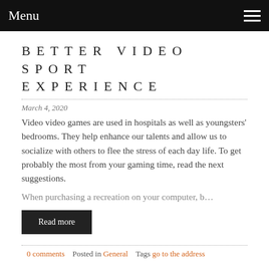Menu
BETTER VIDEO SPORT EXPERIENCE
March 4, 2020
Video video games are used in hospitals as well as youngsters' bedrooms. They help enhance our talents and allow us to socialize with others to flee the stress of each day life. To get probably the most from your gaming time, read the next suggestions.
When purchasing a recreation on your computer, b…
Read more
0 comments    Posted in General    Tags go to the address
HOME IMPROVEMENT TIPS